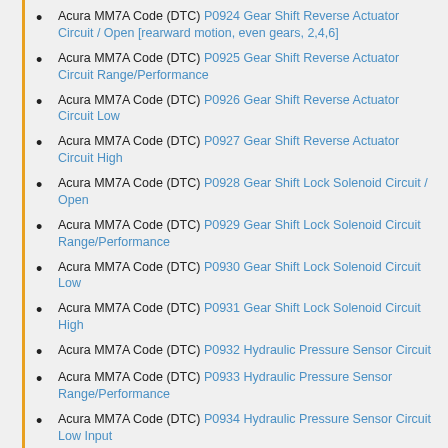Acura MM7A Code (DTC) P0924 Gear Shift Reverse Actuator Circuit / Open [rearward motion, even gears, 2,4,6]
Acura MM7A Code (DTC) P0925 Gear Shift Reverse Actuator Circuit Range/Performance
Acura MM7A Code (DTC) P0926 Gear Shift Reverse Actuator Circuit Low
Acura MM7A Code (DTC) P0927 Gear Shift Reverse Actuator Circuit High
Acura MM7A Code (DTC) P0928 Gear Shift Lock Solenoid Circuit / Open
Acura MM7A Code (DTC) P0929 Gear Shift Lock Solenoid Circuit Range/Performance
Acura MM7A Code (DTC) P0930 Gear Shift Lock Solenoid Circuit Low
Acura MM7A Code (DTC) P0931 Gear Shift Lock Solenoid Circuit High
Acura MM7A Code (DTC) P0932 Hydraulic Pressure Sensor Circuit
Acura MM7A Code (DTC) P0933 Hydraulic Pressure Sensor Range/Performance
Acura MM7A Code (DTC) P0934 Hydraulic Pressure Sensor Circuit Low Input